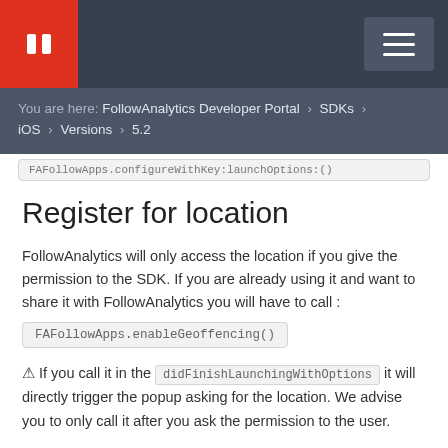FollowAnalytics Developer Portal
You are here: FollowAnalytics Developer Portal > SDKs > iOS > Versions > 5.2
FAFollowApps.configureWithKey:launchOptions:()
Register for location
FollowAnalytics will only access the location if you give the permission to the SDK. If you are already using it and want to share it with FollowAnalytics you will have to call :
FAFollowApps.enableGeoffencing()
⚠ If you call it in the didFinishLaunchingWithOptions it will directly trigger the popup asking for the location. We advise you to only call it after you ask the permission to the user.